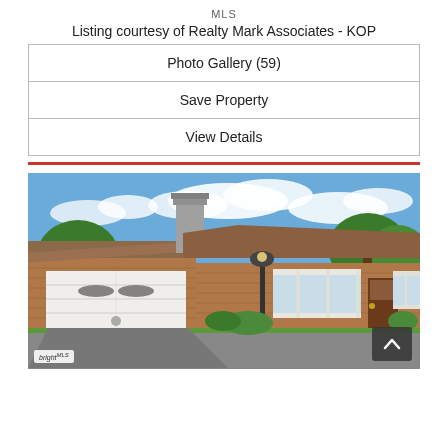MLS
Listing courtesy of Realty Mark Associates - KOP
| Photo Gallery (59) |
| Save Property |
| View Details |
[Figure (photo): Exterior photo of a single-story brick ranch house with attached garage, chimney, bay window, and lamp post. Blue sky with clouds in background. BrightMLS watermark in lower left.]